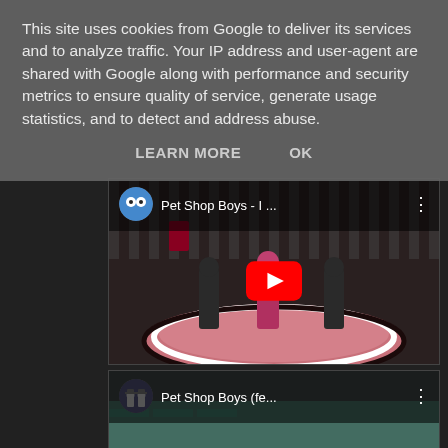This site uses cookies from Google to deliver its services and to analyze traffic. Your IP address and user-agent are shared with Google along with performance and security metrics to ensure quality of service, generate usage statistics, and to detect and address abuse.
LEARN MORE   OK
[Figure (screenshot): YouTube video thumbnail showing Pet Shop Boys music video with three dancers on a pink circular stage with black and white spiral pattern background. YouTube play button visible in center.]
[Figure (screenshot): Partial YouTube video thumbnail showing Pet Shop Boys (fe... with channel icon showing two figures in dark coats and top hats.]